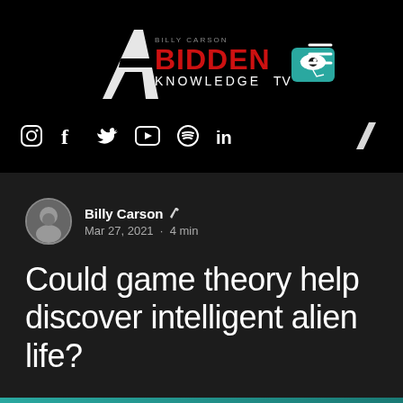[Figure (logo): 4Bidden Knowledge TV logo with stylized '4' slash and Egyptian eye on teal badge, on black background]
[Figure (infographic): Social media icons row: Instagram, Facebook, Twitter, YouTube, Spotify, LinkedIn, and a stylized slash mark on black background]
Billy Carson · Mar 27, 2021 · 4 min
Could game theory help discover intelligent alien life?